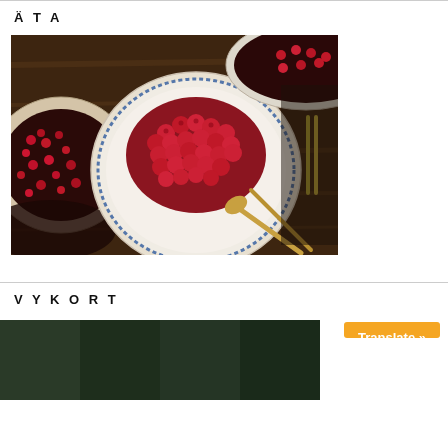Ä T A
[Figure (photo): Overhead view of a table with bowls and plates of red berries (raspberries, lingonberries), spoons, and forks on a dark wooden surface.]
V Y K O R T
[Figure (photo): Partial view of another photo below the VYKORT heading, with a Translate button overlay.]